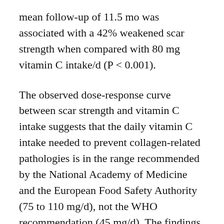mean follow-up of 11.5 mo was associated with a 42% weakened scar strength when compared with 80 mg vitamin C intake/d (P < 0.001).
The observed dose-response curve between scar strength and vitamin C intake suggests that the daily vitamin C intake needed to prevent collagen-related pathologies is in the range recommended by the National Academy of Medicine and the European Food Safety Authority (75 to 110 mg/d), not the WHO recommendation (45 mg/d). The findings also show that a vitamin C intake that averages to 65 mg/d over a mean follow-up of 6.5 mo failed to restore the normal wound-healing capacity of vitamin C–depleted tissues; such tissues